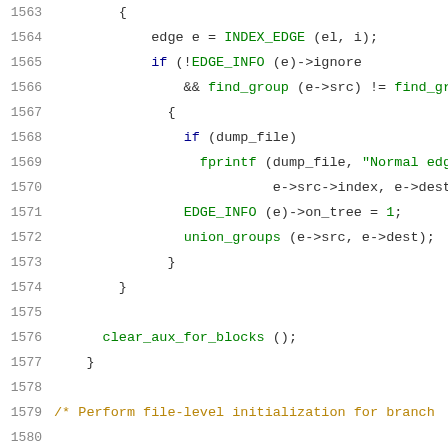[Figure (screenshot): Source code listing lines 1563-1584, C programming language, showing edge processing loop and init_branch_prob function definition]